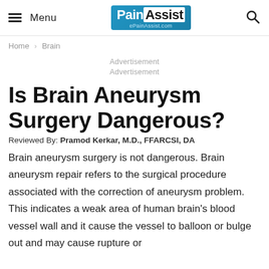Menu | PainAssist ePainAssist.com
Home › Brain
Advertisement
Advertisement
Is Brain Aneurysm Surgery Dangerous?
Reviewed By: Pramod Kerkar, M.D., FFARCSI, DA
Brain aneurysm surgery is not dangerous. Brain aneurysm repair refers to the surgical procedure associated with the correction of aneurysm problem. This indicates a weak area of human brain's blood vessel wall and it cause the vessel to balloon or bulge out and may cause rupture or